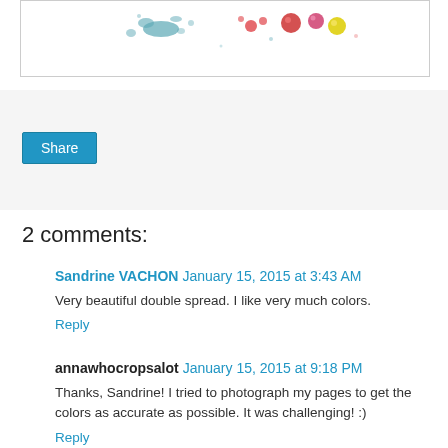[Figure (photo): Partial view of a double-page scrapbook spread showing colorful paint splatters and decorative elements on a white background]
Share
2 comments:
Sandrine VACHON January 15, 2015 at 3:43 AM
Very beautiful double spread. I like very much colors.
Reply
annawhocropsalot January 15, 2015 at 9:18 PM
Thanks, Sandrine! I tried to photograph my pages to get the colors as accurate as possible. It was challenging! :)
Reply